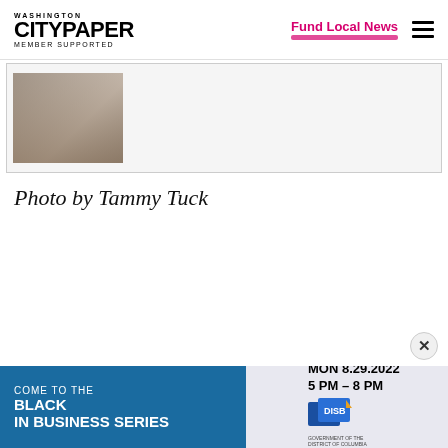Washington City Paper — Member Supported | Fund Local News
[Figure (photo): Photo thumbnail showing a person seated at a table, indoors, wearing a white top.]
Photo by Tammy Tuck
[Figure (infographic): Advertisement banner: COME TO THE BLACK IN BUSINESS SERIES — MON 8.29.2022 5 PM – 8 PM — DISB logo and DC government branding.]